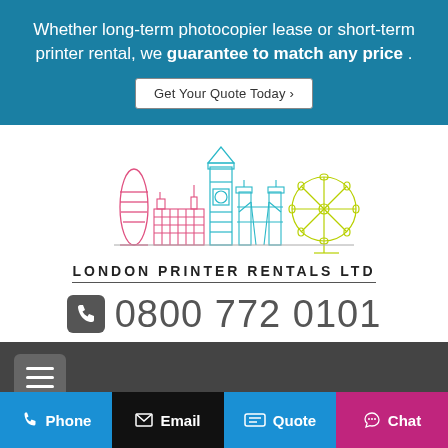Whether long-term photocopier lease or short-term printer rental, we guarantee to match any price .
Get Your Quote Today ›
[Figure (logo): London Printer Rentals Ltd logo — colorful outline illustration of London skyline (The Gherkin, Houses of Parliament, Big Ben, Tower Bridge, London Eye) above the company name]
☎ 0800 772 0101
[Figure (screenshot): Mobile navigation hamburger menu button on dark grey background]
[Figure (photo): Rainbow spectrum color band — vertical streaks of purple, magenta, pink, red, orange, yellow, green across full width]
What Are Managed
☎ Phone  ✉ Email  ▬ Quote  💬 Chat